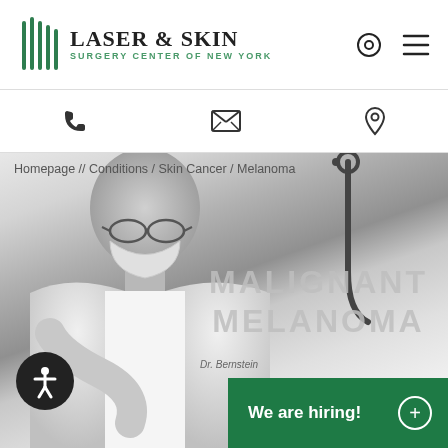[Figure (logo): Laser & Skin Surgery Center of New York logo with green vertical lines icon]
[Figure (infographic): Icon bar with phone, email/envelope, and location pin icons]
Homepage // Conditions / Skin Cancer / Melanoma
[Figure (photo): Black and white photo of a bald doctor wearing glasses and a surgical mask in a white coat, looking down]
MALIGNANT MELANOMA
[Figure (illustration): Accessibility icon button — circular black button with person/wheelchair accessibility symbol in white]
We are hiring!